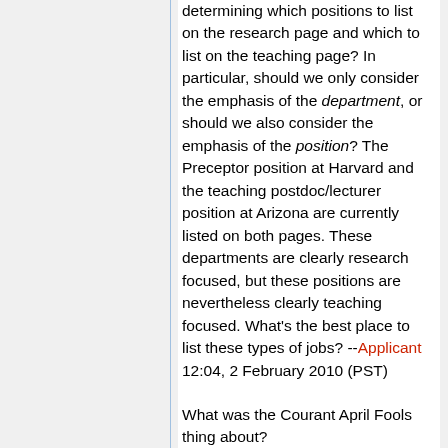What exactly should be our criteria in determining which positions to list on the research page and which to list on the teaching page? In particular, should we only consider the emphasis of the department, or should we also consider the emphasis of the position? The Preceptor position at Harvard and the teaching postdoc/lecturer position at Arizona are currently listed on both pages. These departments are clearly research focused, but these positions are nevertheless clearly teaching focused. What's the best place to list these types of jobs? --Applicant 12:04, 2 February 2010 (PST)
What was the Courant April Fools thing about?
Just to clarify, this was an *applicant* at Courant playing an April Fool's joke on someone. Courant itself did no such thing.